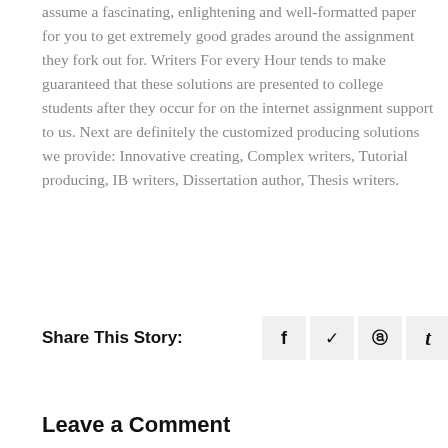assume a fascinating, enlightening and well-formatted paper for you to get extremely good grades around the assignment they fork out for. Writers For every Hour tends to make guaranteed that these solutions are presented to college students after they occur for on the internet assignment support to us. Next are definitely the customized producing solutions we provide: Innovative creating, Complex writers, Tutorial producing, IB writers, Dissertation author, Thesis writers.
Share This Story:
[Figure (infographic): Social sharing icons row: Facebook (f), Twitter (bird/checkmark), Pinterest (p), Tumblr (t) — each in a light grey square box]
Leave a Comment